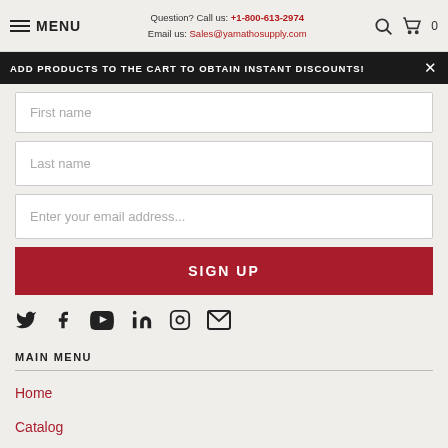MENU | Question? Call us: +1-800-613-2974 | Email us: Sales@yamathosupply.com
ADD PRODUCTS TO THE CART TO OBTAIN INSTANT DISCOUNTS!
First name
Last name
Enter your email address...
SIGN UP
[Figure (infographic): Social media icons row: Twitter, Facebook, YouTube, LinkedIn, Instagram, Email]
MAIN MENU
Home
Catalog